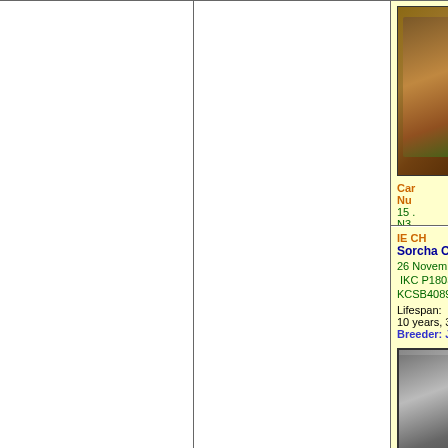| (empty) | (empty) | (dog photo top right - cropped) | Car... Nu..., 15..., N3..., Life 8 y..., Bre... |
| (empty) | (empty) | IE CH
Sorcha Of Nutstown
26 November 1982
IKC P18033
KCSB4089BW Black
Lifespan: 10 years, 3 months.
Breeder: J. & K. Kelly | (small dog photo), IE C... San..., 3 A..., KCS..., Life 7 ye..., Bre... |
[Figure (photo): Brown/red Irish Wolfhound dog standing in profile on grass, top-right section of pedigree page, partially cropped]
[Figure (photo): Black and white photo of an Irish Wolfhound, partially visible in right column of pedigree]
IE CH
Sorcha Of Nutstown
26 November 1982
IKC P18033
KCSB4089BW Black
Lifespan:
10 years, 3 months.
Breeder: J. & K. Kelly
The Irish Wolfhound Database by The IWDB Workgroup is licensed under a Creative Commons Attribution-NonCommercial 4.0 International License.